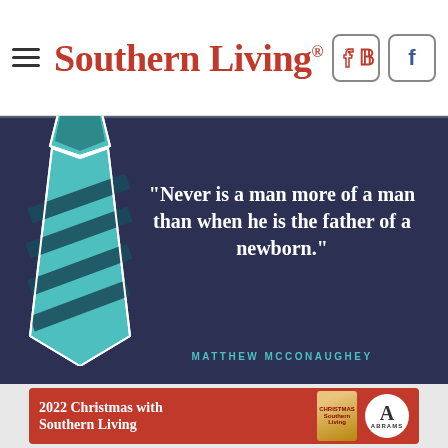Southern Living
[Figure (illustration): Dark navy blue background with a teal and dark navy striped necktie illustration on the left side. Large white serif quote text reads: "Never is a man more of a man than when he is the father of a newborn." Below in teal uppercase spaced letters: MATTHEW MCCONAUGHEY]
[Figure (infographic): Red advertisement banner reading '2022 Christmas with Southern Living' with book cover image and Abrams publisher logo]